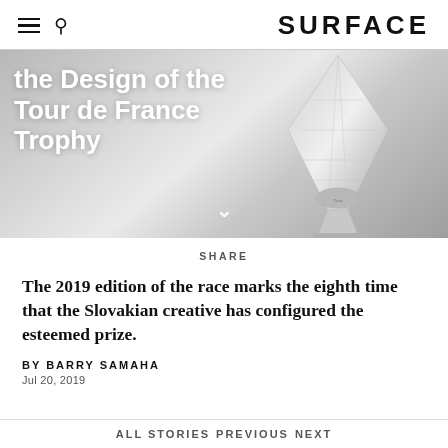SURFACE
[Figure (photo): Grayscale hero image of the Tour de France trophy with white bold text overlay reading 'the Design of the Tour de France Trophy' and a downward chevron arrow]
SHARE
The 2019 edition of the race marks the eighth time that the Slovakian creative has configured the esteemed prize.
BY BARRY SAMAHA
Jul 20, 2019
ALL STORIES   PREVIOUS   NEXT